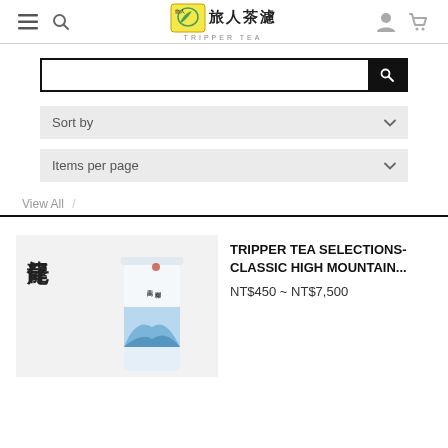Tripper Tea - Navigation header with menu, search, logo, user and cart icons
[Figure (screenshot): Search bar input with magnifying glass button]
Sort by
Items per page
View All /
[Figure (photo): Product photo: tea tin with Chinese mountain landscape design, Chinese characters 龍仔尾 on left]
TRIPPER TEA SELECTIONS-CLASSIC HIGH MOUNTAIN...
NT$450 ~ NT$7,500